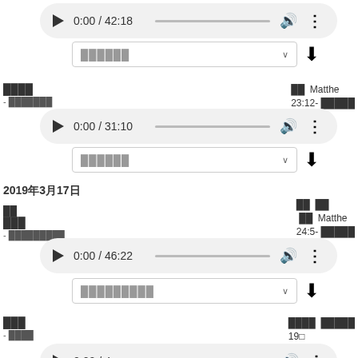[Figure (screenshot): Audio player showing 0:00 / 42:18]
[Figure (screenshot): Dropdown selector with download icon]
████ - ███████
██  Matthew 23:12-█████ 21
[Figure (screenshot): Audio player showing 0:00 / 31:10]
[Figure (screenshot): Dropdown selector with download icon]
2019年3月17日
███ - █████████
██  ██  ██ Matthew 24:5- █████ 12
[Figure (screenshot): Audio player showing 0:00 / 46:22]
[Figure (screenshot): Dropdown selector with download icon]
███ - ████
████ █████ 19□ 28-38